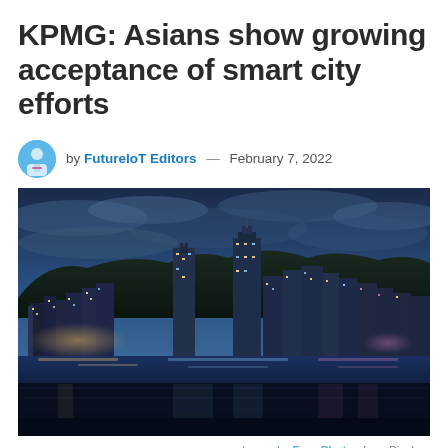KPMG: Asians show growing acceptance of smart city efforts
by FutureIoT Editors — February 7, 2022
[Figure (photo): Night panoramic photo of Hong Kong skyline with illuminated skyscrapers reflecting on Victoria Harbour water, with blue cloudy sky overhead]
Image by Free-Photos from Pixabay